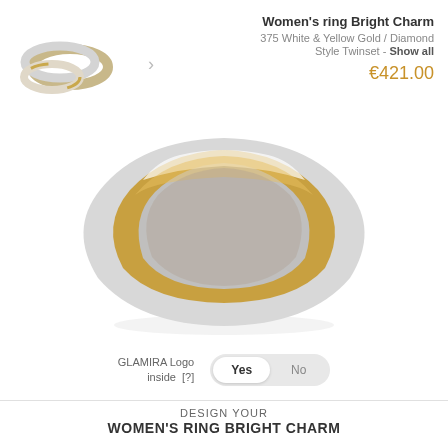[Figure (photo): Thumbnail image of two rings - white and yellow gold wedding bands]
Women's ring Bright Charm
375 White & Yellow Gold / Diamond
Style Twinset - Show all
€421.00
[Figure (photo): Large close-up product image of a two-tone ring with white and yellow gold bands, showing the curved profile of the ring against a white background]
GLAMIRA Logo inside [?]
Yes  No
DESIGN YOUR
WOMEN'S RING BRIGHT CHARM